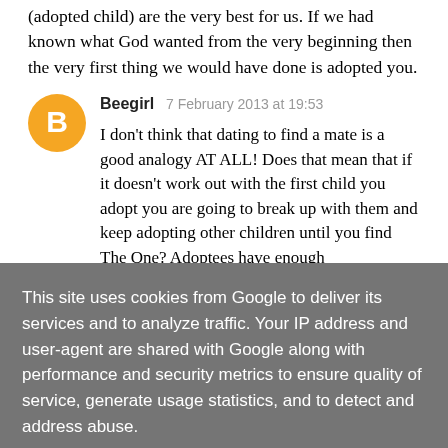(adopted child) are the very best for us. If we had known what God wanted from the very beginning then the very first thing we would have done is adopted you.
Beegirl  7 February 2013 at 19:53
I don't think that dating to find a mate is a good analogy AT ALL! Does that mean that if it doesn't work out with the first child you adopt you are going to break up with them and keep adopting other children until you find The One? Adoptees have enough
This site uses cookies from Google to deliver its services and to analyze traffic. Your IP address and user-agent are shared with Google along with performance and security metrics to ensure quality of service, generate usage statistics, and to detect and address abuse.
LEARN MORE    OK